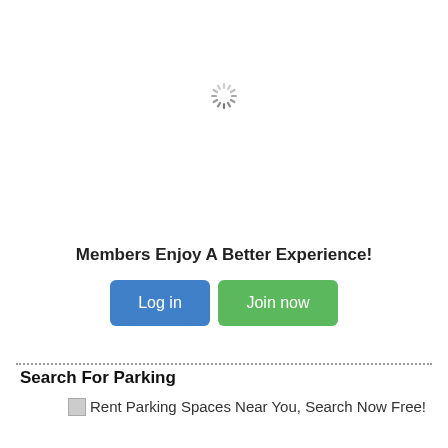[Figure (other): Loading spinner icon (circular progress indicator)]
Members Enjoy A Better Experience!
[Figure (other): Log in button (blue) and Join now button (green)]
Search For Parking
[Figure (other): Broken image placeholder: Rent Parking Spaces Near You, Search Now Free!]